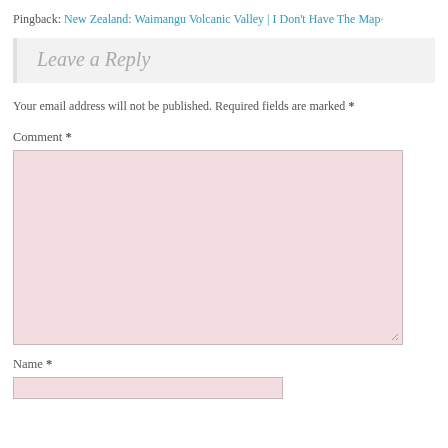Pingback: New Zealand: Waimangu Volcanic Valley | I Don't Have The Map·
Leave a Reply
Your email address will not be published. Required fields are marked *
Comment *
Name *